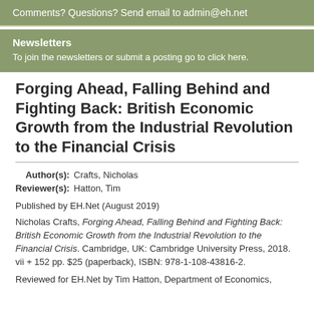Comments? Questions? Send email to admin@eh.net
Newsletters
To join the newsletters or submit a posting go to click here.
Forging Ahead, Falling Behind and Fighting Back: British Economic Growth from the Industrial Revolution to the Financial Crisis
| Field | Value |
| --- | --- |
| Author(s): | Crafts, Nicholas |
| Reviewer(s): | Hatton, Tim |
Published by EH.Net (August 2019)
Nicholas Crafts, Forging Ahead, Falling Behind and Fighting Back: British Economic Growth from the Industrial Revolution to the Financial Crisis. Cambridge, UK: Cambridge University Press, 2018. vii + 152 pp. $25 (paperback), ISBN: 978-1-108-43816-2.
Reviewed for EH.Net by Tim Hatton, Department of Economics,